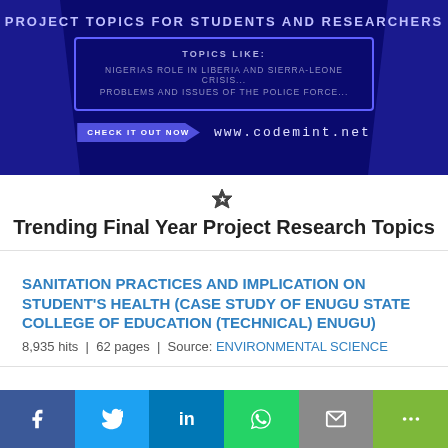[Figure (screenshot): Banner advertisement for codemint.net showing project topics for students and researchers. Dark blue background with text: PROJECT TOPICS FOR STUDENTS AND RESEARCHERS, TOPICS LIKE: NIGERIAS ROLE IN LIBERIA AND SIERRA-LEONE CRISIS... PROBLEMS AND ISSUES OF THE POLICE FORCE... CHECK IT OUT NOW www.codemint.net]
Trending Final Year Project Research Topics
SANITATION PRACTICES AND IMPLICATION ON STUDENT'S HEALTH (CASE STUDY OF ENUGU STATE COLLEGE OF EDUCATION (TECHNICAL) ENUGU) — 8,935 hits | 62 pages | Source: ENVIRONMENTAL SCIENCE
THE EFFECT DATING AND PREMARITAL SEX ON ACADEMIC PERFORMANCE OF URBAN AND RURAL STUDENTS OF AKWA IBOM STATE (A STUDY OF UYO AND IKOT ABASI LOCAL GOVER...